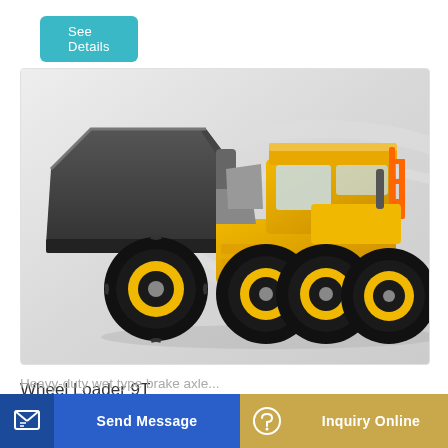See Details
[Figure (photo): Yellow wheel loader with large black rock bucket attachment, shown on a light grey gradient background. Heavy construction equipment with four large black tires with yellow rims.]
Wheel Loader 9T
1. Reinforced rock bucket with thickened plate is
ing ag
Heavy-duty wet type brake axle...
Send Message
Inquiry Online